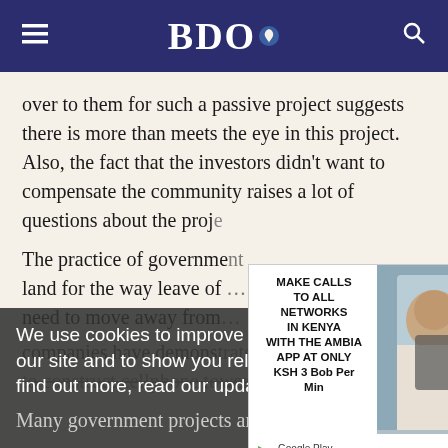BDO
over to them for such a passive project suggests there is more than meets the eye in this project. Also, the fact that the investors didn't want to compensate the community raises a lot of questions about the proj…
The practice of governme… land for the way leave of … need to move away from…
[Figure (infographic): Advertisement overlay: MAKE CALLS TO ALL NETWORKS IN KENYA WITH THE AMBIA APP AT ONLY KSH 3 Bob Per Min, with Google Play and App Store badges, alongside photo of woman on phone. Close button top right.]
companies have demons… to construct cellphone towers is a cost-effective…
We use cookies to improve your experience on our site and to show you relevant advertising. To find out more, read our updated Privacy Policy
Many government projects are expensive